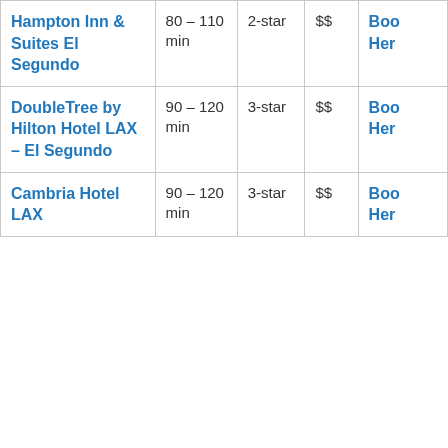| Hotel | Travel Time | Star Rating | Price | Link |
| --- | --- | --- | --- | --- |
| Hampton Inn & Suites El Segundo | 80 – 110 min | 2-star | $$ | Book Here |
| DoubleTree by Hilton Hotel LAX – El Segundo | 90 – 120 min | 3-star | $$ | Book Here |
| Cambria Hotel LAX | 90 – 120 min | 3-star | $$ | Book Here |